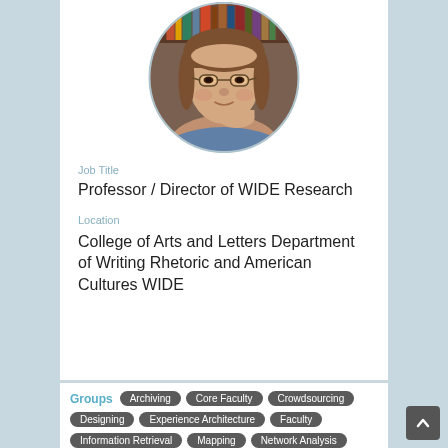[Figure (photo): Circular profile photo of a woman with glasses, resting chin on hand, with bookshelves in the background]
Job Title
Professor / Director of WIDE Research
Location
College of Arts and Letters Department of Writing Rhetoric and American Cultures WIDE
Groups: Archiving, Core Faculty, Crowdsourcing
Designing, Experience Architecture, Faculty
Information Retrieval, Mapping, Network Analysis, Publishing